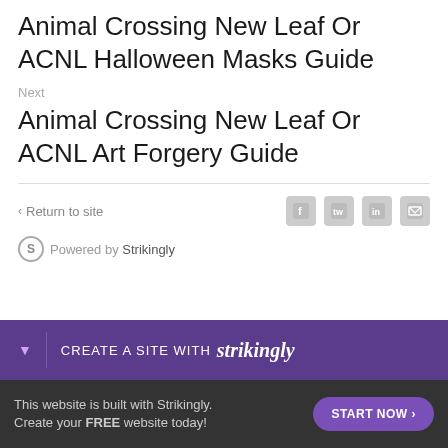Animal Crossing New Leaf Or ACNL Halloween Masks Guide
Next
Animal Crossing New Leaf Or ACNL Art Forgery Guide
< Return to site
[Figure (infographic): Social share icons: Facebook, Twitter, LinkedIn, Email]
Powered by Strikingly
[Figure (infographic): Purple banner: CREATE A SITE WITH strikingly]
This website is built with Strikingly.
Create your FREE website today!
START NOW >